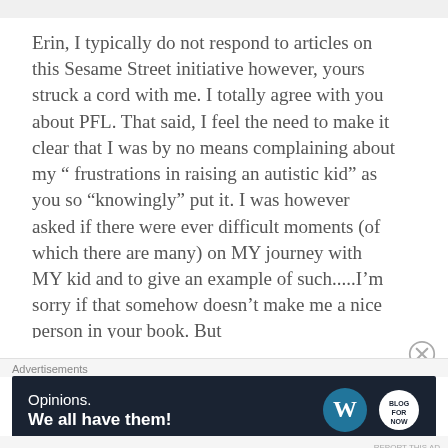Erin, I typically do not respond to articles on this Sesame Street initiative however, yours struck a cord with me. I totally agree with you about PFL. That said, I feel the need to make it clear that I was by no means complaining about my “ frustrations in raising an autistic kid” as you so “knowingly” put it. I was however asked if there were ever difficult moments (of which there are many) on MY journey with MY kid and to give an example of such.....I’m sorry if that somehow doesn’t make me a nice person in your book. But
Advertisements
[Figure (other): Advertisement banner with dark navy background. Left side shows text: 'Opinions.' and 'We all have them!' in white. Right side shows WordPress logo and another circular logo.]